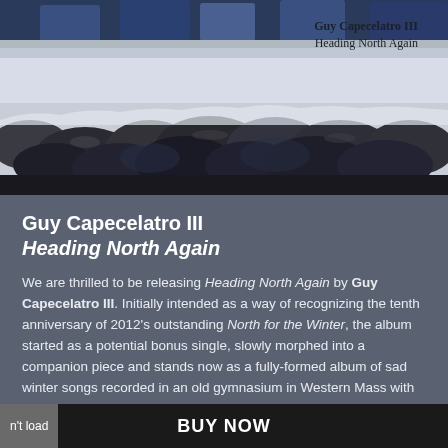[Figure (illustration): Album cover artwork for 'Heading North Again' by Guy Capecelatro III, showing a winter scene with rocks/stones covered in snow and blue-toned figures in background. Text overlay reads 'Guy Capecelatro III / Heading North Again' in top right corner.]
Guy Capecelatro III
Heading North Again
We are thrilled to be releasing Heading North Again by Guy Capecelatro III. Initially intended as a way of recognizing the tenth anniversary of 2012's outstanding North for the Winter, the album started as a potential bonus single, slowly morphed into a companion piece and stands now as a fully-formed album of sad winter songs recorded in an old gymnasium in Western Mass with 21 of Guy's friends and collaborators. Out now on CD and download.
BUY NOW